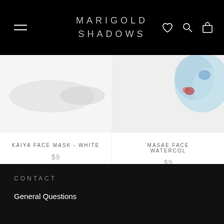MARIGOLD SHADOWS
[Figure (photo): Kaiya Face Mask - White product image, white oval mask on light background]
KAIYA FACE MASK - WHITE
$9
[Figure (photo): Masae Face Mask Watercolor product image, colorful watercolor-style mask on light background]
MASAE FACE WATERCOLOR
$9
★★★★★
CONTACT
General Questions